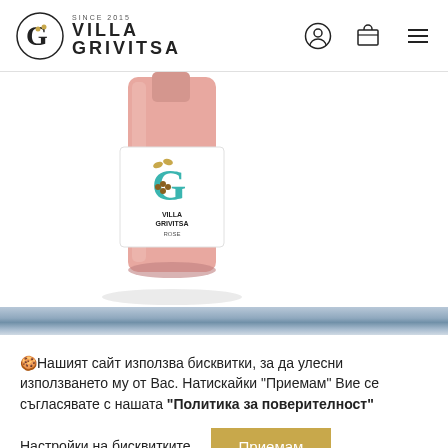VILLA GRIVITSA SINCE 2015
[Figure (photo): Rose wine bottle from Villa Grivitsa with a light pink/blush color, white label featuring the Villa Grivitsa logo in teal and gold, with the word ROSE on the label]
🍪Нашият сайт използва бисквитки, за да улесни използването му от Вас. Натискайки "Приемам" Вие се съгласявате с нашата "Политика за поверителност"
Настройки на бисквитките | Приемам